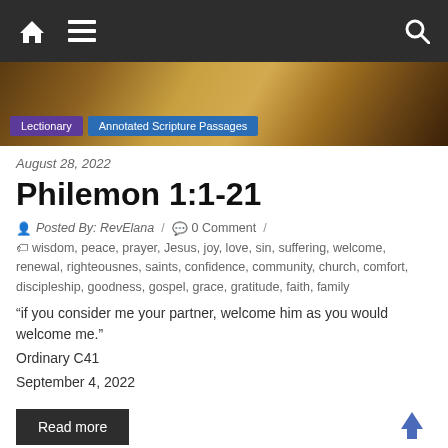Nav bar with home, menu, and search icons
[Figure (photo): Gold and brown decorative banner image with Lectionary and Annotated Scripture Passages tags]
August 28, 2022
Philemon 1:1-21
Posted By: RevElana / 0 Comment /
wisdom, peace, prayer, Jesus, joy, love, sin, suffering, welcome, renewal, righteousnes, saints, confidence, community, church, comfort, discipleship, goodness, gospel, grace, gratitude, faith, family
“if you consider me your partner, welcome him as you would welcome me.”
Ordinary C41
September 4, 2022
Read more